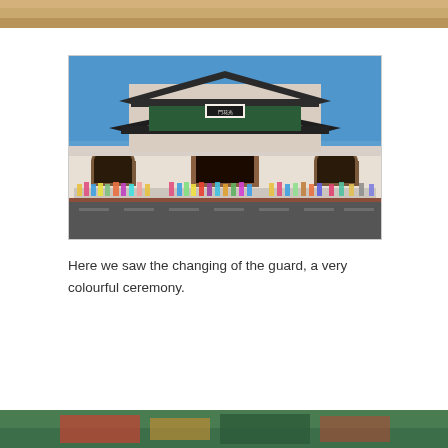[Figure (photo): Partial view of a sandy/desert-toned image cropped at the top of the page]
[Figure (photo): Gyeongbokgung Palace gate (Gwanghwamun) in Seoul, South Korea. A large traditional Korean palace gate with two-tiered pagoda-style roof, white stone walls with three arched entrances, Korean characters on a placard, crowds of visitors in colorful traditional hanbok clothing gathered in front, and a wide road in the foreground. Clear blue sky above.]
Here we saw the changing of the guard, a very colourful ceremony.
[Figure (photo): Partial view of a colorful image at the bottom of the page, showing green and warm tones]